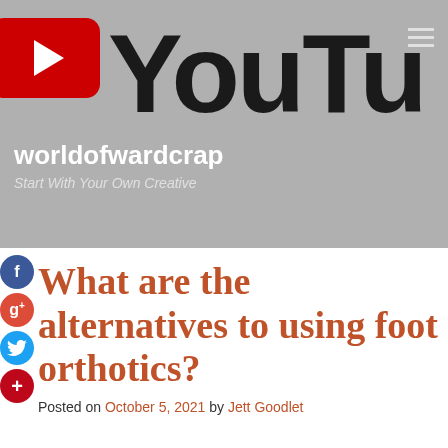[Figure (screenshot): YouTube channel header banner for 'worldofwardcrap' with YouTube logo (red play button and dark text 'YouTu' visible), channel name 'worldofwardcrap', tagline 'Start With Your Own Creative', hamburger menu icon, on grey background.]
[Figure (infographic): Social media share icons: Facebook (blue circle with f), Google+ (red/orange circle with g+), Twitter (blue circle with bird), Pinterest (red circle with +)]
What are the alternatives to using foot orthotics?
Posted on October 5, 2021 by Jett Goodlet